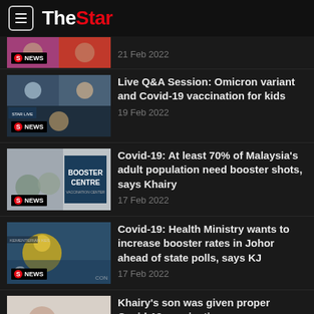The Star
21 Feb 2022
Live Q&A Session: Omicron variant and Covid-19 vaccination for kids
19 Feb 2022
Covid-19: At least 70% of Malaysia's adult population need booster shots, says Khairy
17 Feb 2022
Covid-19: Health Ministry wants to increase booster rates in Johor ahead of state polls, says KJ
17 Feb 2022
Khairy's son was given proper Covid-19 vaccination